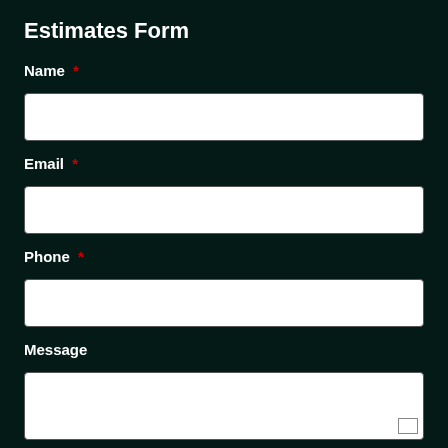Estimates Form
Name *
[Figure (other): Empty text input field for Name]
Email *
[Figure (other): Empty text input field for Email]
Phone *
[Figure (other): Empty text input field for Phone]
Message
[Figure (other): Empty textarea input field for Message with resize handle]